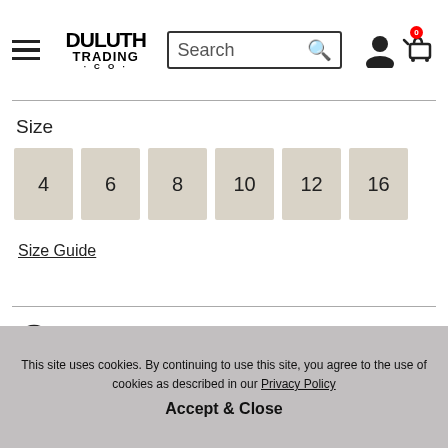Duluth Trading Co. — Search bar — User icon — Cart (0)
Size
4
6
8
10
12
16
Size Guide
Ship (selected)
Free Pickup In Store
This site uses cookies. By continuing to use this site, you agree to the use of cookies as described in our Privacy Policy
Accept & Close